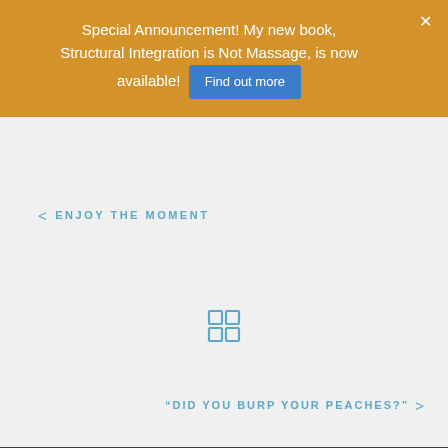Special Announcement! My new book, Structural Integration is Not Massage, is now available! Find out more
< ENJOY THE MOMENT
[Figure (other): 2x2 grid/home icon in blue]
“DID YOU BURP YOUR PEACHES?” >
Dr. James Dohn
(562) 438-9136 office
(562) 881-2932 cell